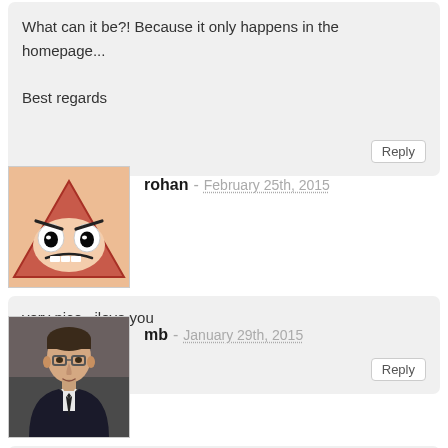What can it be?! Because it only happens in the homepage...

Best regards
rohan - February 25th, 2015
very nice . ilove you
mb - January 29th, 2015
have you any kind o manual ?
The developer version as special features ?